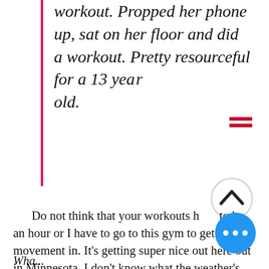workout. Propped her phone up, sat on her floor and did a workout. Pretty resourceful for a 13 year old.
Do not think that your workouts have to be an hour or I have to go to this gym to get my movement in. It's getting super nice out here out in Minnesota, I don't know what the weather's like where you're at. But as soon as it gets nice out here, I bet you I probably if I would have went around town, I would have saw people in shorts. It's probably like 40 degrees. That's what happens in Minnesota. But people start going for walks on their lunch break, right?
What...